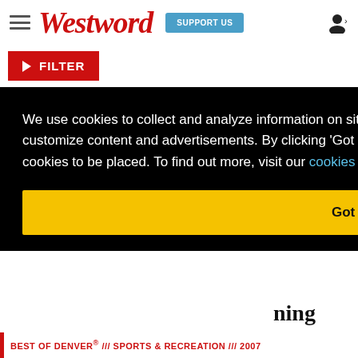Westword — SUPPORT US
▶ FILTER
We use cookies to collect and analyze information on site performance and usage, and to enhance and customize content and advertisements. By clicking 'Got it' or continuing to use the site, you agree to allow cookies to be placed. To find out more, visit our cookies policy and our privacy policy.
Got it!
BEST OF DENVER® /// SPORTS & RECREATION /// 2007